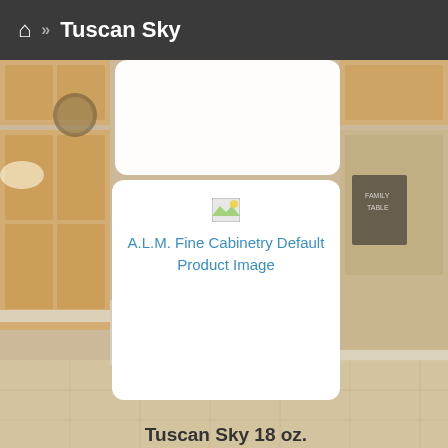🏠 >> Tuscan Sky
[Figure (photo): Background kitchen photo showing light wood cabinets, countertops, and kitchen interior]
[Figure (illustration): A.L.M. Fine Cabinetry Default Product Image placeholder icon]
A.L.M. Fine Cabinetry Default Product Image
Tuscan Sky 18 oz.